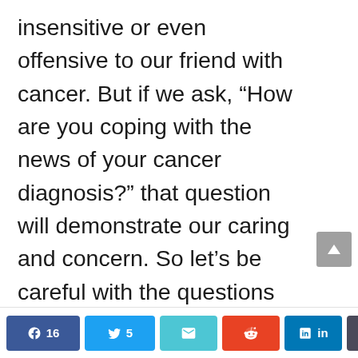insensitive or even offensive to our friend with cancer. But if we ask, “How are you coping with the news of your cancer diagnosis?” that question will demonstrate our caring and concern. So let’s be careful with the questions we’re asking and how we’re
Share buttons: Facebook 16, Twitter 5, Email, Reddit, LinkedIn, More